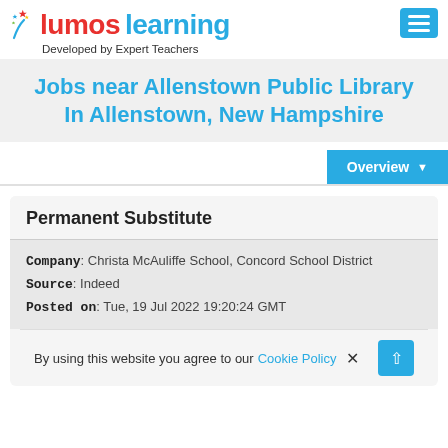Lumos Learning — Developed by Expert Teachers
Jobs near Allenstown Public Library In Allenstown, New Hampshire
Permanent Substitute
Company: Christa McAuliffe School, Concord School District
Source: Indeed
Posted on: Tue, 19 Jul 2022 19:20:24 GMT
By using this website you agree to our Cookie Policy